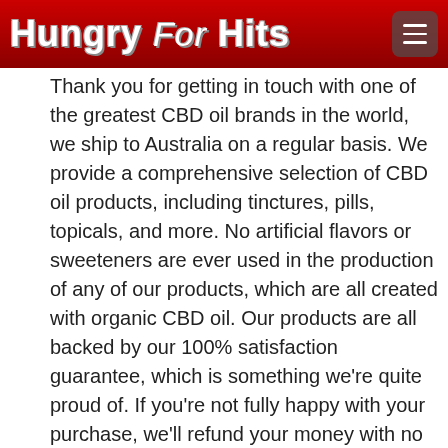Hungry For Hits
Thank you for getting in touch with one of the greatest CBD oil brands in the world, we ship to Australia on a regular basis. We provide a comprehensive selection of CBD oil products, including tinctures, pills, topicals, and more. No artificial flavors or sweeteners are ever used in the production of any of our products, which are all created with organic CBD oil. Our products are all backed by our 100% satisfaction guarantee, which is something we're quite proud of. If you're not fully happy with your purchase, we'll refund your money with no questions asked..
...one of the highest caliber...